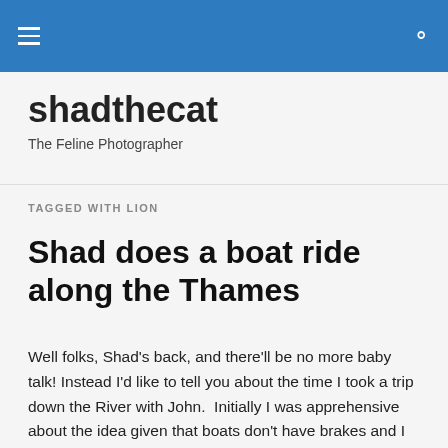≡  🔍
shadthecat
The Feline Photographer
TAGGED WITH LION
Shad does a boat ride along the Thames
Well folks, Shad's back, and there'll be no more baby talk! Instead I'd like to tell you about the time I took a trip down the River with John.  Initially I was apprehensive about the idea given that boats don't have brakes and I had visions of drifting down the Thames out of control, crashing into